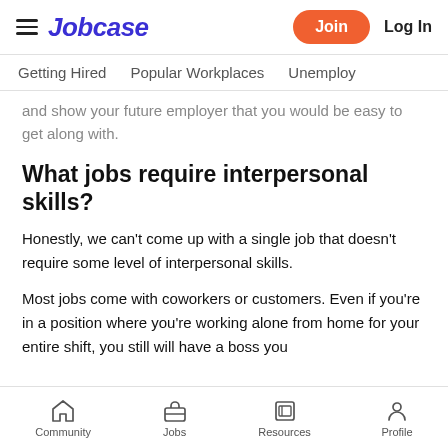Jobcase — Join | Log In
Getting Hired | Popular Workplaces | Unemploy...
and show your future employer that you would be easy to get along with.
What jobs require interpersonal skills?
Honestly, we can't come up with a single job that doesn't require some level of interpersonal skills.
Most jobs come with coworkers or customers. Even if you're in a position where you're working alone from home for your entire shift, you still will have a boss you
Community | Jobs | Resources | Profile